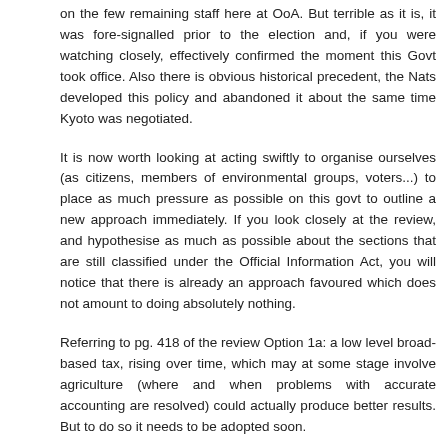on the few remaining staff here at OoA. But terrible as it is, it was fore-signalled prior to the election and, if you were watching closely, effectively confirmed the moment this Govt took office. Also there is obvious historical precedent, the Nats developed this policy and abandoned it about the same time Kyoto was negotiated.
It is now worth looking at acting swiftly to organise ourselves (as citizens, members of environmental groups, voters...) to place as much pressure as possible on this govt to outline a new approach immediately. If you look closely at the review, and hypothesise as much as possible about the sections that are still classified under the Official Information Act, you will notice that there is already an approach favoured which does not amount to doing absolutely nothing.
Referring to pg. 418 of the review Option 1a: a low level broad-based tax, rising over time, which may at some stage involve agriculture (where and when problems with accurate accounting are resolved) could actually produce better results. But to do so it needs to be adopted soon.